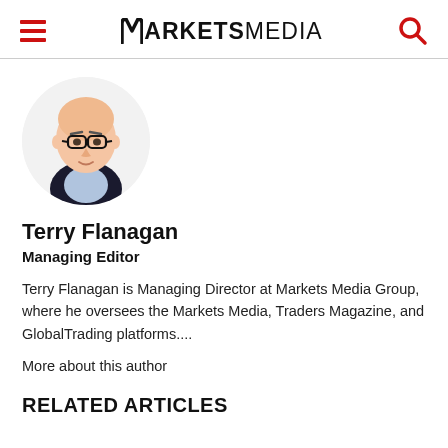MARKETS MEDIA
[Figure (illustration): Illustrated portrait of Terry Flanagan, a bald man with black-framed glasses wearing a suit and light blue shirt, shown in a circular frame]
Terry Flanagan
Managing Editor
Terry Flanagan is Managing Director at Markets Media Group, where he oversees the Markets Media, Traders Magazine, and GlobalTrading platforms....
More about this author
RELATED ARTICLES